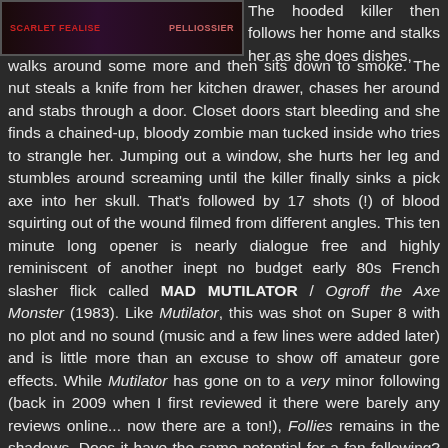[Figure (photo): Movie cover or title card image with dark purple/black background showing stylized text in red letters, partially visible]
The hooded killer then follows her home and stalks her as she does dishes, walks around some more and then sits down to smoke. The nut steals a knife from her kitchen drawer, chases her around and stabs through a door. Closet doors start bleeding and she finds a chained-up, bloody zombie man tucked inside who tries to strangle her. Jumping out a window, she hurts her leg and stumbles around screaming until the killer finally sinks a pick axe into her skull. That's followed by 17 shots (!) of blood squirting out of the wound filmed from different angles. This ten minute long opener is nearly dialogue free and highly reminiscent of another inept no budget early 80s French slasher flick called MAD MUTILATOR / Ogroff the Axe Monster (1983). Like Mutilator, this was shot on Super 8 with no plot and no sound (music and a few lines were added later) and is little more than an excuse to show off amateur gore effects. While Mutilator has gone on to a very minor following (back in 2009 when I first reviewed it there were barely any reviews online... now there are a ton!), Follies remains in the shadows. Does it have the same potential for a fan following? Perhaps. It's certainly on